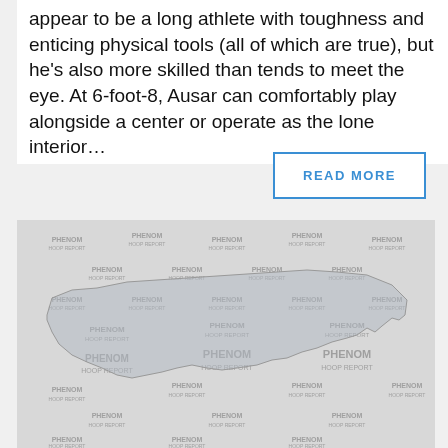appear to be a long athlete with toughness and enticing physical tools (all of which are true), but he’s also more skilled than tends to meet the eye. At 6-foot-8, Ausar can comfortably play alongside a center or operate as the lone interior…
READ MORE
[Figure (illustration): Phenom Hoop Report watermark logo repeated in a grid pattern over a map of North Carolina outline]